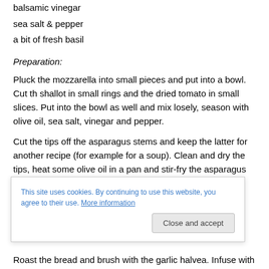balsamic vinegar
sea salt & pepper
a bit of fresh basil
Preparation:
Pluck the mozzarella into small pieces and put into a bowl. Cut th shallot in small rings and the dried tomato in small slices. Put into the bowl as well and mix losely, season with olive oil, sea salt, vinegar and pepper.
Cut the tips off the asparagus stems and keep the latter for another recipe (for example for a soup). Clean and dry the tips, heat some olive oil in a pan and stir-fry the asparagus tips for a ... o c... w...
Roast the bread and brush with the garlic halvea. Infuse with
This site uses cookies. By continuing to use this website, you agree to their use. More information
Close and accept